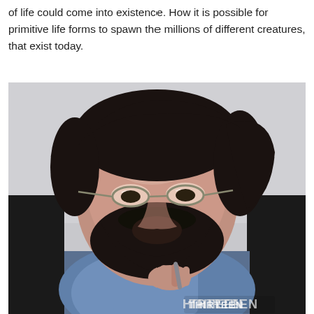of life could come into existence. How it is possible for primitive life forms to spawn the millions of different creatures, that exist today.
[Figure (photo): A bearded man with glasses wearing a blue shirt, sitting at a desk, holding something near his chin. A watermark reading 'THIRTEEN' is visible in the lower right corner.]